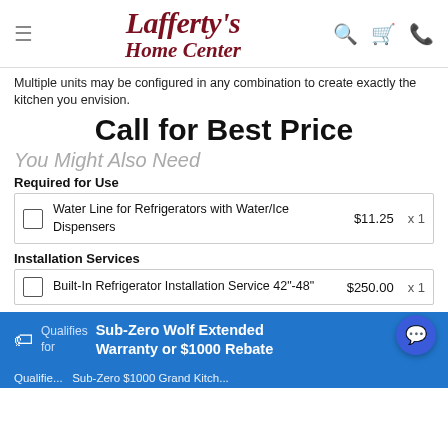Lafferty's Home Center
Multiple units may be configured in any combination to create exactly the kitchen you envision.
Call for Best Price
You Might Also Need
Required for Use
| Item | Price | Qty |
| --- | --- | --- |
| Water Line for Refrigerators with Water/Ice Dispensers | $11.25 | x 1 |
Installation Services
| Item | Price | Qty |
| --- | --- | --- |
| Built-In Refrigerator Installation Service 42"-48" | $250.00 | x 1 |
Qualifies for Sub-Zero Wolf Extended Warranty or $1000 Rebate
Qualifies Sub-Zero $1000 Grand Kitch...